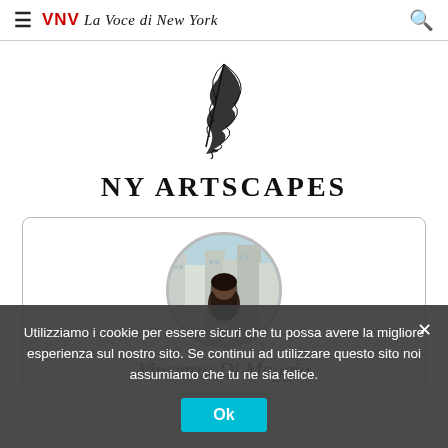VNV La Voce di New York
[Figure (illustration): Black feather/quill pen illustration centered on white background]
NY ARTSCAPES
[Figure (photo): Circular author photo of a woman with dark hair, standing in front of New York City skyscrapers]
Vincenza Di Maggio
Utilizziamo i cookie per essere sicuri che tu possa avere la migliore esperienza sul nostro sito. Se continui ad utilizzare questo sito noi assumiamo che tu ne sia felice.